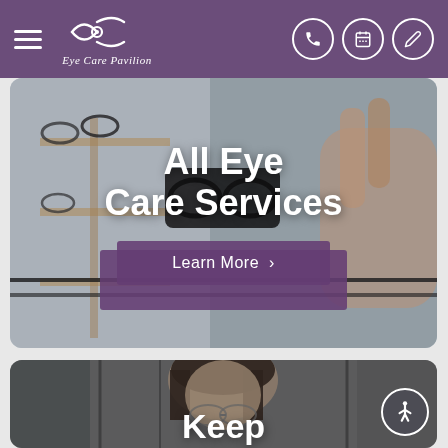Eye Care Pavilion
[Figure (screenshot): Hero image of an eyeglass retail display with a hand holding glasses, text overlay 'All Eye Care Services' and a 'Learn More' button]
[Figure (photo): Photo of a young woman smiling, wearing glasses, in an optical store. Partially visible at bottom with text 'Keep']